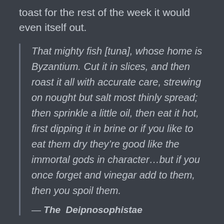toast for the rest of the week it would even itself out.
That mighty fish [tuna], whose home is Byzantium. Cut it in slices, and then roast it all with accurate care, strewing on nought but salt most thinly spread; then sprinkle a little oil, then eat it hot, first dipping it in brine or if you like to eat them dry they’re good like the immortal gods in character…but if you once forget and vinegar add to them, then you spoil them.

— The Deipnosophistae
Because of the price tag I was very, very unwilling to go too off piste with the recipe. Not that there were lots to go off into with the t